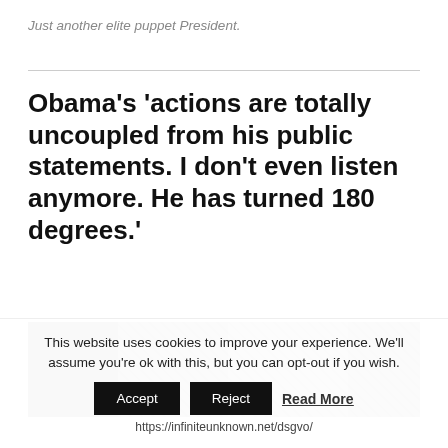Just another elite puppet President.
Obama’s ‘actions are totally uncoupled from his public statements. I don’t even listen anymore. He has turned 180 degrees.’
[Figure (photo): A photograph showing several people including what appears to be a public official surrounded by others, cropped to show upper bodies.]
This website uses cookies to improve your experience. We’ll assume you’re ok with this, but you can opt-out if you wish.
https://infiniteunknown.net/dsgvo/